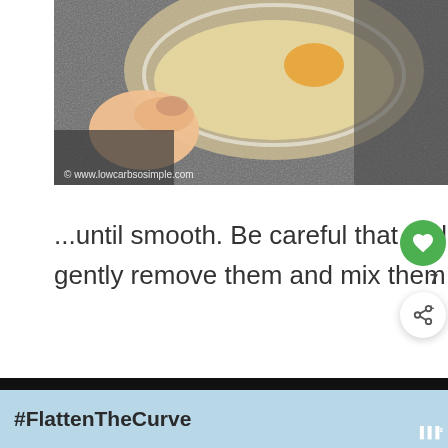[Figure (photo): Close-up photo of hands holding a glass bowl with almond flour and egg mixture, on a dark surface. Watermark: © www.lowcarbsosimple.com]
...until smooth. Be careful that no lumps are stuck to the spoon. If there are, gently remove them and mix them into the batter.
[Figure (photo): Partial photo of a dark granular surface (beginning of next step image)]
#FlattenTheCurve